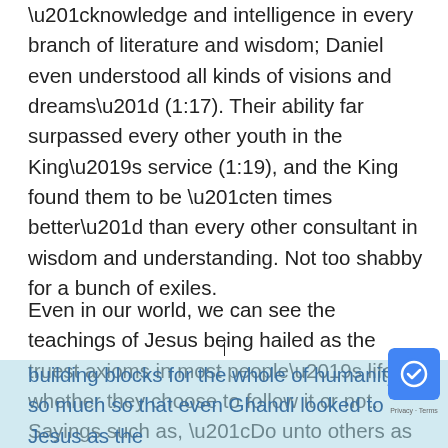“knowledge and intelligence in every branch of literature and wisdom; Daniel even understood all kinds of visions and dreams” (1:17). Their ability far surpassed every other youth in the King’s service (1:19), and the King found them to be “ten times better” than every other consultant in wisdom and understanding. Not too shabby for a bunch of exiles.
Even in our world, we can see the teachings of Jesus being hailed as the truest axioms in most people’s life, whether they choose to follow it or not. Sayings such as, “Do unto others as you would have them to unto you,” “turn the other cheek,” and “go the extra mile,” have become standard moral building blocks for the whole of humanity, so much so that even Ghandi looked to Jesus as the